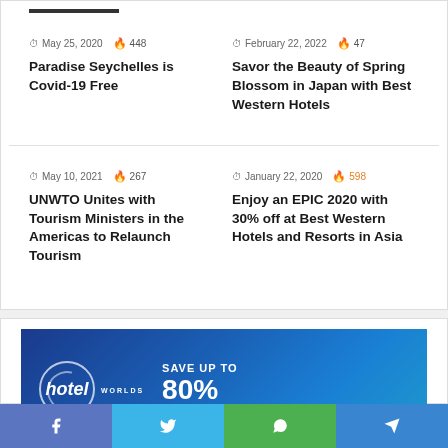May 25, 2020 · 448
Paradise Seychelles is Covid-19 Free
February 22, 2022 · 47
Savor the Beauty of Spring Blossom in Japan with Best Western Hotels
May 10, 2021 · 267
UNWTO Unites with Tourism Ministers in the Americas to Relaunch Tourism
January 22, 2020 · 598
Enjoy an EPIC 2020 with 30% off at Best Western Hotels and Resorts in Asia
[Figure (advertisement): Hotel Worlds advertisement banner — Save up to 80% on hotels, Singapore]
f · t · WhatsApp · Telegram